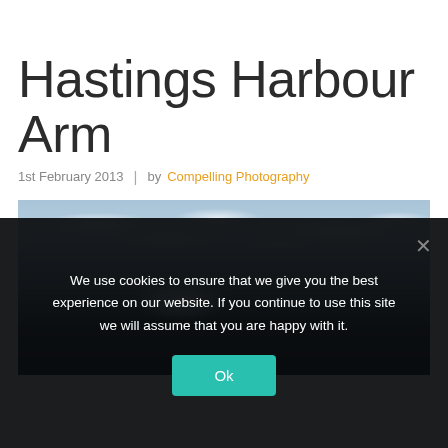Hastings Harbour Arm
1st February 2013  |  by Compelling Photography
[Figure (photo): Stormy seascape at Hastings Harbour Arm showing crashing waves against the harbour wall with dramatic cloudy sky and seabirds visible]
We use cookies to ensure that we give you the best experience on our website. If you continue to use this site we will assume that you are happy with it.